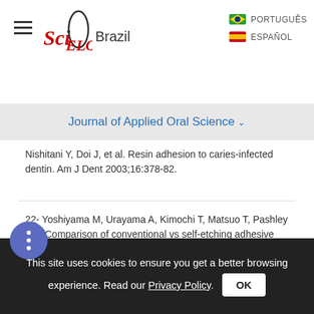SciELO Brazil | PORTUGUES | ESPANOL
Journal of Applied Oral Science
Nishitani Y, Doi J, et al. Resin adhesion to caries-infected dentin. Am J Dent 2003;16:378-82.
22- Yoshiyama M, Urayama A, Kimochi T, Matsuo T, Pashley DH. Comparison of conventional vs self-etching adhesive bonds to caries-affected dentin. Oper Dent 2000;25:163-9.
Correspondence to Dr. Masahiro Yoshiyama Department of Operative Dentistry Okayama
This site uses cookies to ensure you get a better browsing experience. Read our Privacy Policy.